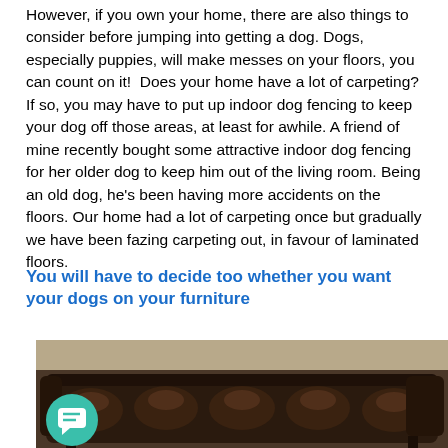However, if you own your home, there are also things to consider before jumping into getting a dog. Dogs, especially puppies, will make messes on your floors, you can count on it!  Does your home have a lot of carpeting? If so, you may have to put up indoor dog fencing to keep your dog off those areas, at least for awhile. A friend of mine recently bought some attractive indoor dog fencing for her older dog to keep him out of the living room. Being an old dog, he's been having more accidents on the floors. Our home had a lot of carpeting once but gradually we have been fazing carpeting out, in favour of laminated floors.
You will have to decide too whether you want your dogs on your furniture
[Figure (photo): Photo of a dark brown tufted leather sofa/couch, with a light beige/grey wall in the background. A chat/message icon overlay is visible in the bottom-left corner of the image.]